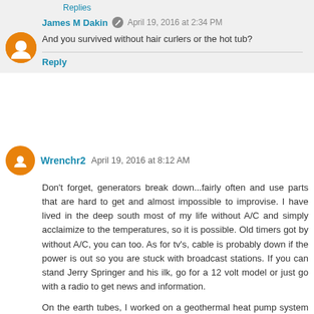Replies
James M Dakin   April 19, 2016 at 2:34 PM
And you survived without hair curlers or the hot tub?
Reply
Wrenchr2   April 19, 2016 at 8:12 AM
Don't forget, generators break down...fairly often and use parts that are hard to get and almost impossible to improvise. I have lived in the deep south most of my life without A/C and simply acclaimize to the temperatures, so it is possible. Old timers got by without A/C, you can too. As for tv's, cable is probably down if the power is out so you are stuck with broadcast stations. If you can stand Jerry Springer and his ilk, go for a 12 volt model or just go with a radio to get news and information.
On the earth tubes, I worked on a geothermal heat pump system that was only 3 foot deep, but the lines were 3 foot